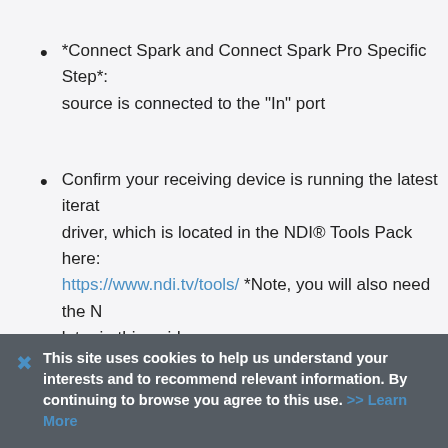*Connect Spark and Connect Spark Pro Specific Step*: source is connected to the "In" port
Confirm your receiving device is running the latest iteration driver, which is located in the NDI® Tools Pack here: https://www.ndi.tv/tools/ *Note, you will also need the NDI later in this guide.
Ensure that you are operating your receiving device as administrator level in the Control Panel at Control Panel\User Account...
This site uses cookies to help us understand your interests and to recommend relevant information. By continuing to browse you agree to this use. >> Learn More